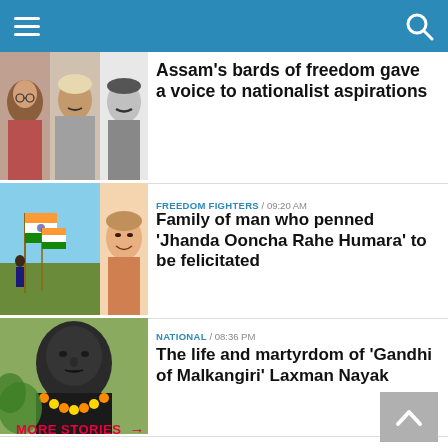[Figure (photo): Collage of three freedom fighters/historical figures portraits]
Assam's bards of freedom gave a voice to nationalist aspirations
FREEDOM FIGHTERS / 09:20 AM
[Figure (photo): Two children waving Indian flags in a field, alongside a sketch portrait of a man]
Family of man who penned 'Jhanda Ooncha Rahe Humara' to be felicitated
NATIONAL / 08:36 PM
[Figure (photo): Statue bust of Laxman Nayak with flower garland]
The life and martyrdom of 'Gandhi of Malkangiri' Laxman Nayak
MORE STORIES →